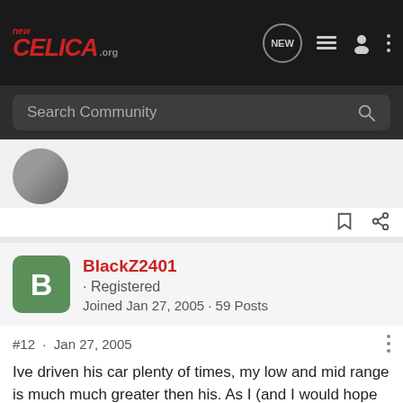NewCelica.org
Search Community
[Figure (screenshot): Partially visible user avatar (dark gray circle)]
BlackZ2401 · Registered
Joined Jan 27, 2005 · 59 Posts
#12 · Jan 27, 2005
Ive driven his car plenty of times, my low and mid range is much much greater then his. As I (and I would hope you) would expect with a s/c added on.
Im not talking about beating him by 10 cars lengths or anything, but its not going to to even like it was from a roll.